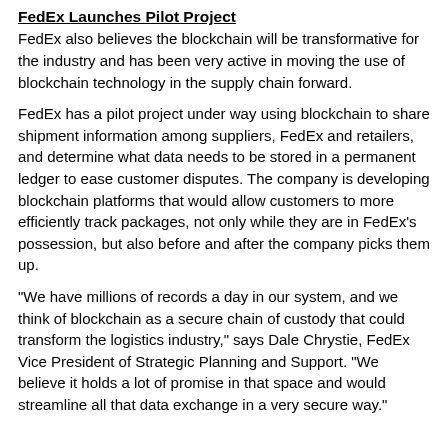FedEx Launches Pilot Project
FedEx also believes the blockchain will be transformative for the industry and has been very active in moving the use of blockchain technology in the supply chain forward.
FedEx has a pilot project under way using blockchain to share shipment information among suppliers, FedEx and retailers, and determine what data needs to be stored in a permanent ledger to ease customer disputes. The company is developing blockchain platforms that would allow customers to more efficiently track packages, not only while they are in FedEx’s possession, but also before and after the company picks them up.
“We have millions of records a day in our system, and we think of blockchain as a secure chain of custody that could transform the logistics industry,” says Dale Chrystie, FedEx Vice President of Strategic Planning and Support. “We believe it holds a lot of promise in that space and would streamline all that data exchange in a very secure way.”